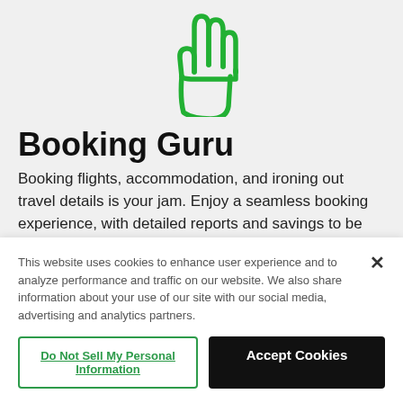[Figure (illustration): Green outline hand/pointer icon on light gray background, partially cropped at top]
Booking Guru
Booking flights, accommodation, and ironing out travel details is your jam. Enjoy a seamless booking experience, with detailed reports and savings to be had along the way.
This website uses cookies to enhance user experience and to analyze performance and traffic on our website. We also share information about your use of our site with our social media, advertising and analytics partners.
Do Not Sell My Personal Information
Accept Cookies